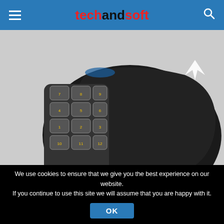techandsoft
[Figure (photo): Close-up photo of a CORSAIR Scimitar Pro RGB gaming mouse showing the side button cluster with numbered macro keys in a yellow accent frame and the Corsair sail logo on the back.]
CORSAIR Scimitar Pro RGB – MMO Gaming Mouse
We use cookies to ensure that we give you the best experience on our website. If you continue to use this site we will assume that you are happy with it.